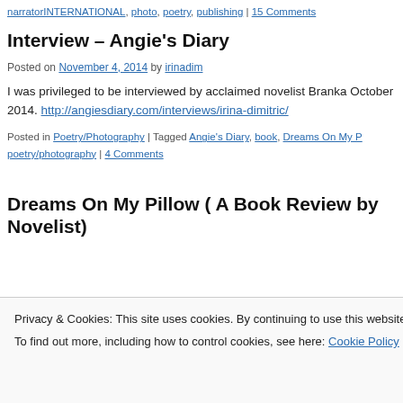narratorINTERNATIONAL, photo, poetry, publishing | 15 Comments
Interview – Angie's Diary
Posted on November 4, 2014 by irinadim
I was privileged to be interviewed by acclaimed novelist Branka October 2014. http://angiesdiary.com/interviews/irina-dimitric/
Posted in Poetry/Photography | Tagged Angie's Diary, book, Dreams On My P poetry/photography | 4 Comments
Dreams On My Pillow ( A Book Review by Novelist)
Privacy & Cookies: This site uses cookies. By continuing to use this website, you agree to their use.
To find out more, including how to control cookies, see here: Cookie Policy